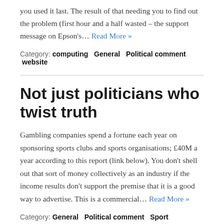you used it last. The result of that needing you to find out the problem (first hour and a half wasted – the support message on Epson's… Read More »
Category: computing  General  Political comment  website
Not just politicians who twist truth
Gambling companies spend a fortune each year on sponsoring sports clubs and sports organisations; £40M a year according to this report (link below). You don't shell out that sort of money collectively as an industry if the income results don't support the premise that it is a good way to advertise. This is a commercial… Read More »
Category: General  Political comment  Sport